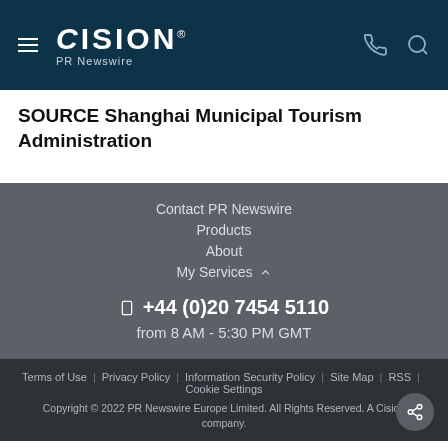CISION PR Newswire
SOURCE Shanghai Municipal Tourism Administration
Contact PR Newswire
Products
About
My Services
+44 (0)20 7454 5110
from 8 AM - 5:30 PM GMT
Terms of Use | Privacy Policy | Information Security Policy | Site Map | RSS | Cookie Settings
Copyright © 2022 PR Newswire Europe Limited. All Rights Reserved. A Cision company.